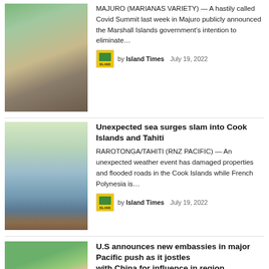[Figure (photo): People standing on a wooden dock/boardwalk, tropical setting]
MAJURO (MARIANAS VARIETY) — A hastily called Covid Summit last week in Majuro publicly announced the Marshall Islands government's intention to eliminate…
by Island Times   July 19, 2022
[Figure (photo): Coastal scene with palm trees, flooded area or sea surge visible]
Unexpected sea surges slam into Cook Islands and Tahiti
RAROTONGA/TAHITI (RNZ PACIFIC) — An unexpected weather event has damaged properties and flooded roads in the Cook Islands while French Polynesia is…
by Island Times   July 19, 2022
[Figure (photo): Portrait of a smiling woman with dark hair, green foliage in background]
U.S announces new embassies in major Pacific push as it jostles with China for influence in region
SUVA (THE GUARDIAN) — The U.S de…